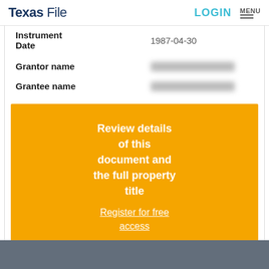Texas File | LOGIN | MENU
| Field | Value |
| --- | --- |
| Instrument Date | 1987-04-30 |
| Grantor name | [redacted] |
| Grantee name | [redacted] |
Review details of this document and the full property title Register for free access